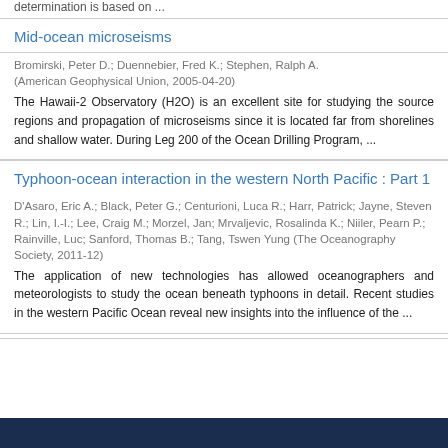determination is based on ...
Mid-ocean microseisms
Bromirski, Peter D.; Duennebier, Fred K.; Stephen, Ralph A. (American Geophysical Union, 2005-04-20)
The Hawaii-2 Observatory (H2O) is an excellent site for studying the source regions and propagation of microseisms since it is located far from shorelines and shallow water. During Leg 200 of the Ocean Drilling Program, ...
Typhoon-ocean interaction in the western North Pacific : Part 1
D'Asaro, Eric A.; Black, Peter G.; Centurioni, Luca R.; Harr, Patrick; Jayne, Steven R.; Lin, I.-I.; Lee, Craig M.; Morzel, Jan; Mrvaljevic, Rosalinda K.; Niiler, Pearn P.; Rainville, Luc; Sanford, Thomas B.; Tang, Tswen Yung (The Oceanography Society, 2011-12)
The application of new technologies has allowed oceanographers and meteorologists to study the ocean beneath typhoons in detail. Recent studies in the western Pacific Ocean reveal new insights into the influence of the ...